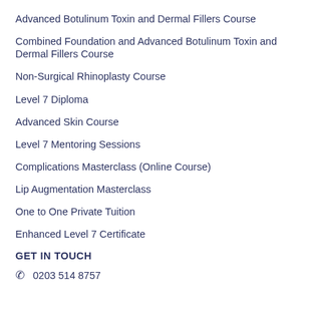Advanced Botulinum Toxin and Dermal Fillers Course
Combined Foundation and Advanced Botulinum Toxin and Dermal Fillers Course
Non-Surgical Rhinoplasty Course
Level 7 Diploma
Advanced Skin Course
Level 7 Mentoring Sessions
Complications Masterclass (Online Course)
Lip Augmentation Masterclass
One to One Private Tuition
Enhanced Level 7 Certificate
GET IN TOUCH
0203 514 8757